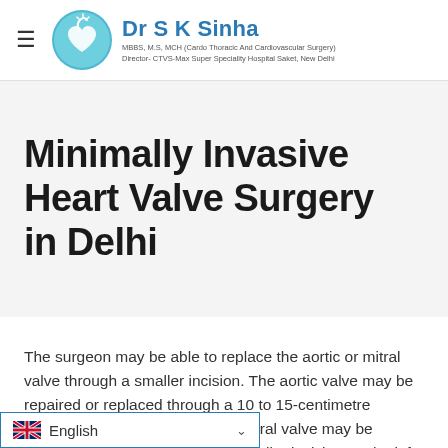Dr S K Sinha — MBBS, M.S, MCH (Cardo Thoracic And Cardiovascular Surgery) Director- CTVS-Max Super Speciality Hospital Saket, New Delhi
Minimally Invasive Heart Valve Surgery in Delhi
The surgeon may be able to replace the aortic or mitral valve through a smaller incision. The aortic valve may be repaired or replaced through a 10 to 15-centimetre incision in the breastbone. The mitral valve may be repaired or replaced through a smaller incision on the left or right side between